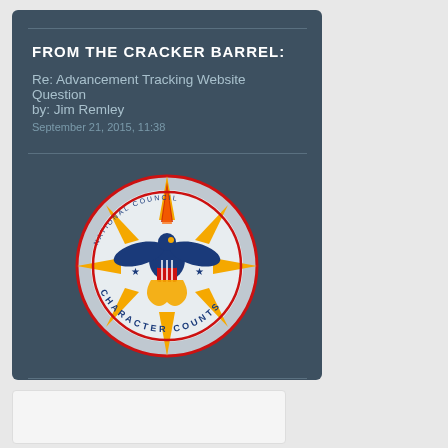FROM THE CRACKER BARREL:
Re: Advancement Tracking Website Question by: Jim Remley
September 21, 2015, 11:38
[Figure (logo): Boy Scouts of America logo: circular emblem with eagle, shield, stars, compass rose/fleur-de-lis design in blue, gold, red, and white. Text reads 'CHARACTER COUNTS' around the bottom rim.]